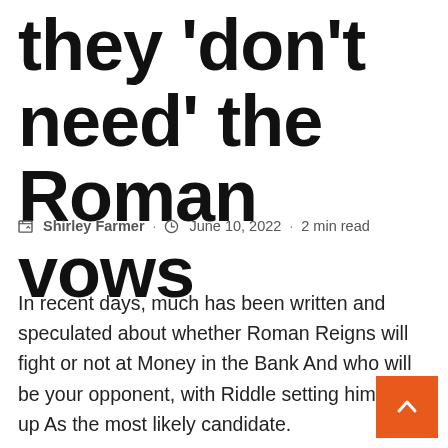they 'don't need' the Roman vows
✎ Shirley Farmer · ⏱ June 10, 2022 · 2 min read
In recent days, much has been written and speculated about whether Roman Reigns will fight or not at Money in the Bank And who will be your opponent, with Riddle setting himself up As the most likely candidate.
However, the latest information indicates indisputably WWE World champion failed event that 2 weeks ago it